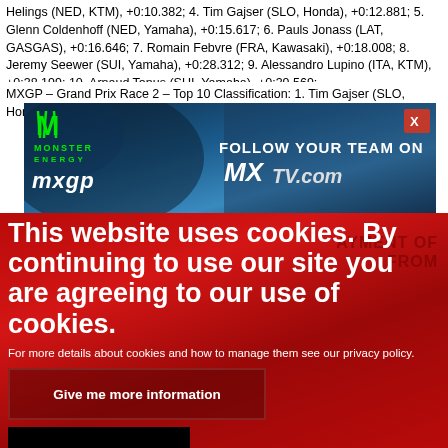Helings (NED, KTM), +0:10.382; 4. Tim Gajser (SLO, Honda), +0:12.881; 5. Glenn Coldenhoff (NED, Yamaha), +0:15.617; 6. Pauls Jonass (LAT, GASGAS), +0:16.646; 7. Romain Febvre (FRA, Kawasaki), +0:18.008; 8. Jeremy Seewer (SUI, Yamaha), +0:28.312; 9. Alessandro Lupino (ITA, KTM), +0:38.199; 10. Arnaud Tonus (SUI, Yamaha), +0:39.569;
MXGP – Grand Prix Race 2 – Top 10 Classification: 1. Tim Gajser (SLO, Honda), 36:18.266; 2. Romain Febvre (FRA, Kawasaki), +0:01.468; 3.
[Figure (screenshot): Monster Energy MXGP banner advertisement with dark blue background, Monster Energy logo on the left and 'FOLLOW YOUR TEAM ON MX TV.com' text on the right, with a red X close button in the top-right corner.]
This website uses cookies. By continuing to use our site you are agreeing to our use of cookies.
For more details about cookies and how to manage them see our privacy policy.
Give me more information
OK, I agree